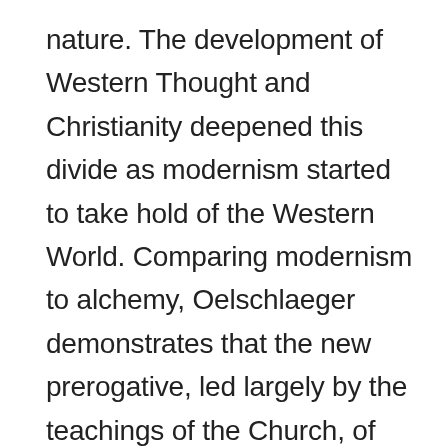nature. The development of Western Thought and Christianity deepened this divide as modernism started to take hold of the Western World. Comparing modernism to alchemy, Oelschlaeger demonstrates that the new prerogative, led largely by the teachings of the Church, of western peoples during the Middle Ages was to turn wilderness into civilization, something worthless into something